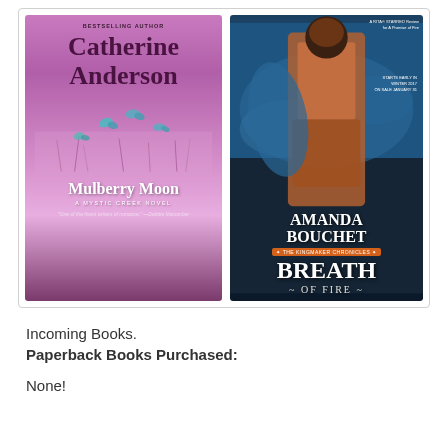[Figure (illustration): Two book covers side by side. Left: 'Mulberry Moon' by Catherine Anderson, A Mystic Creek Novel, with pink/purple gradient background and butterflies. Right: 'Breath of Fire' by Amanda Bouchet, The Kingmaker Chronicles, with a warrior woman against a blue/water background.]
Incoming Books.
Paperback Books Purchased:
None!